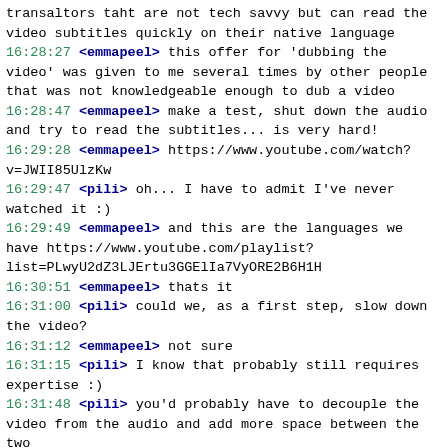transaltors taht are not tech savvy but can read the video subtitles quickly on their native language
16:28:27 <emmapeel> this offer for 'dubbing the video' was given to me several times by other people that was not knowledgeable enough to dub a video
16:28:47 <emmapeel> make a test, shut down the audio and try to read the subtitles... is very hard!
16:29:28 <emmapeel> https://www.youtube.com/watch?v=JWII85UlzKw
16:29:47 <pili> oh... I have to admit I've never watched it :)
16:29:49 <emmapeel> and this are the languages we have https://www.youtube.com/playlist?list=PLwyU2dZ3LJErtu3GGElIa7VyORE2B6H1H
16:30:51 <emmapeel> thats it
16:31:00 <pili> could we, as a first step, slow down the video?
16:31:12 <emmapeel> not sure
16:31:15 <pili> I know that probably still requires expertise :)
16:31:48 <pili> you'd probably have to decouple the video from the audio and add more space between the two
16:32:14 <pili> so I see some are dubbed already
16:32:23 <emmapeel> the audios at the last link sound quite easy to do
16:32:30 <pili> do we know how/when these were done?
16:33:12 <emmapeel> mrphs worked on that. he told me he could get the 'noises' track if more people record it, but we need somebody to sync the audios
16:33:21 <pili> "Cómo protects the privatization and